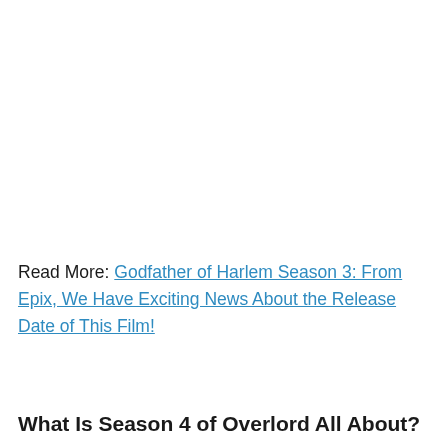Read More: Godfather of Harlem Season 3: From Epix, We Have Exciting News About the Release Date of This Film!
What Is Season 4 of Overlord All About?